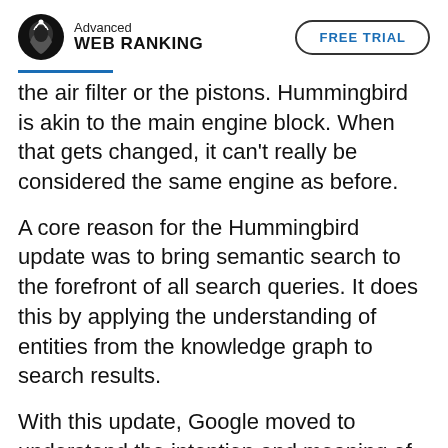Advanced WEB RANKING | FREE TRIAL
the air filter or the pistons. Hummingbird is akin to the main engine block. When that gets changed, it can't really be considered the same engine as before.
A core reason for the Hummingbird update was to bring semantic search to the forefront of all search queries. It does this by applying the understanding of entities from the knowledge graph to search results.
With this update, Google moved to understand the intention and meaning of words rather than merely matching the text within content to a search query.